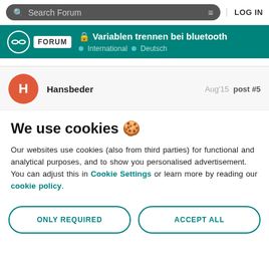Search Forum | LOG IN
🔒 Variablen trennen bei bluetooth · International · Deutsch
Hansbeder  Aug'15  post #5
We use cookies 🍪
Our websites use cookies (also from third parties) for functional and analytical purposes, and to show you personalised advertisement. You can adjust this in Cookie Settings or learn more by reading our cookie policy.
ONLY REQUIRED
ACCEPT ALL